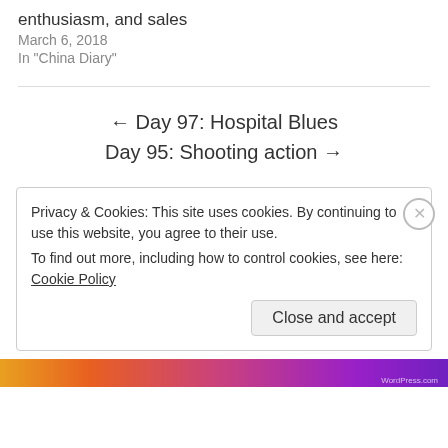enthusiasm, and sales
March 6, 2018
In "China Diary"
← Day 97: Hospital Blues
Day 95: Shooting action →
Privacy & Cookies: This site uses cookies. By continuing to use this website, you agree to their use.
To find out more, including how to control cookies, see here: Cookie Policy
Close and accept